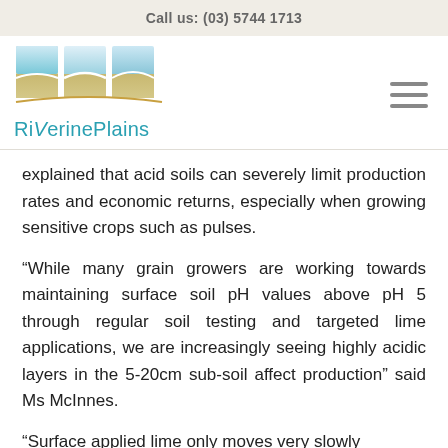Call us: (03) 5744 1713
[Figure (logo): Riverine Plains logo with teal landscape graphic panels and teal text reading 'RiVerinePlains']
explained that acid soils can severely limit production rates and economic returns, especially when growing sensitive crops such as pulses.
“While many grain growers are working towards maintaining surface soil pH values above pH 5 through regular soil testing and targeted lime applications, we are increasingly seeing highly acidic layers in the 5-20cm sub-soil affect production” said Ms McInnes.
“Surface applied lime only moves very slowly